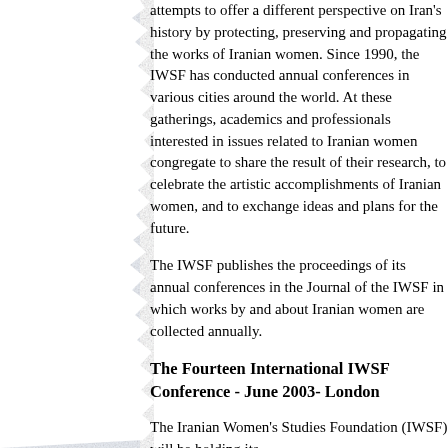[Figure (illustration): Torn paper edge decorative border on the left side of the page, white with light blue/grey texture.]
attempts to offer a different perspective on Iran's history by protecting, preserving and propagating the works of Iranian women. Since 1990, the IWSF has conducted annual conferences in various cities around the world. At these gatherings, academics and professionals interested in issues related to Iranian women congregate to share the result of their research, to celebrate the artistic accomplishments of Iranian women, and to exchange ideas and plans for the future.
The IWSF publishes the proceedings of its annual conferences in the Journal of the IWSF in which works by and about Iranian women are collected annually.
The Fourteen International IWSF Conference - June 2003- London
The Iranian Women's Studies Foundation (IWSF) will be holding its